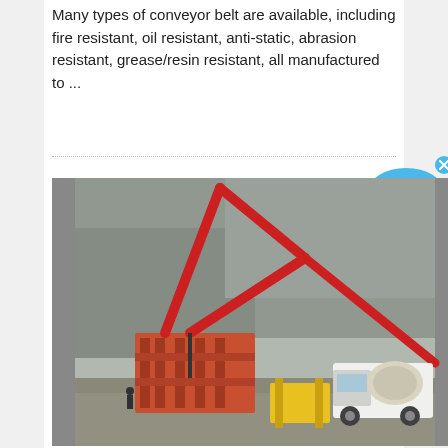Many types of conveyor belt are available, including fire resistant, oil resistant, anti-static, abrasion resistant, grease/resin resistant, all manufactured to ...
[Figure (photo): Construction site photo showing a red concrete pump truck with extended boom arm pouring concrete at a quarry/mining site, with scaffolding and a white cement mixer truck visible in the background.]
[Figure (infographic): Live Chat widget button in blue speech bubble with X close button]